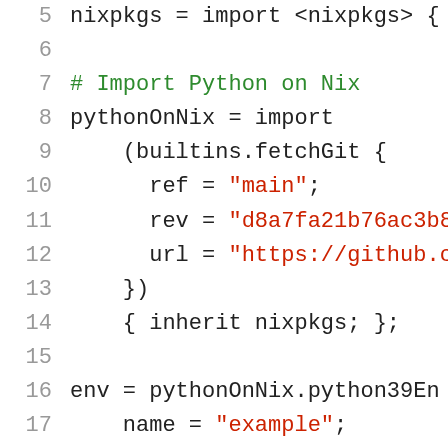5   nixpkgs = import <nixpkgs> {
6
7   # Import Python on Nix
8   pythonOnNix = import
9       (builtins.fetchGit {
10          ref = "main";
11          rev = "d8a7fa21b76ac3b8a
12          url = "https://github.co
13      })
14      { inherit nixpkgs; };
15
16  env = pythonOnNix.python39En
17      name = "example";
18      projects = {
19          "six" = "1.16.0";